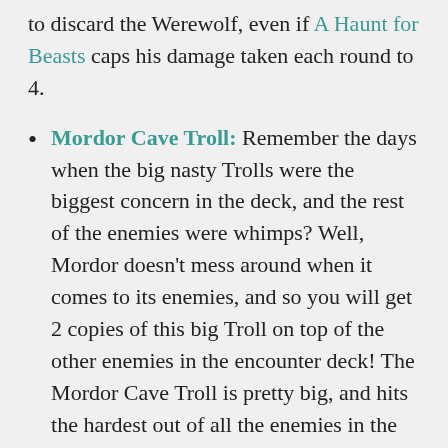to discard the Werewolf, even if A Haunt for Beasts caps his damage taken each round to 4.
Mordor Cave Troll: Remember the days when the big nasty Trolls were the biggest concern in the deck, and the rest of the enemies were whimps? Well, Mordor doesn't mess around when it comes to its enemies, and so you will get 2 copies of this big Troll on top of the other enemies in the encounter deck! The Mordor Cave Troll is pretty big, and hits the hardest out of all the enemies in the encounter deck. With 3 threat and 33 engagement cost, it won't be too long before players start engaging this enemy, though you do get a little more time than with the Hill